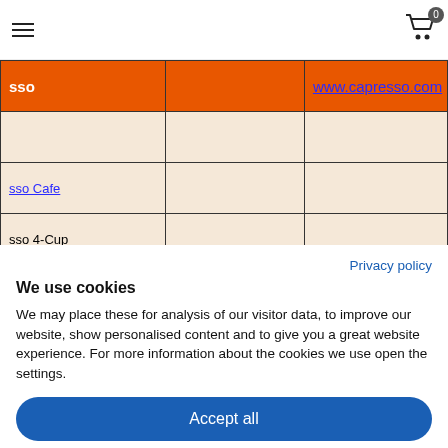Navigation header with hamburger menu and shopping cart icon showing 0 items
| sso |  | www.capresso.com |
| --- | --- | --- |
|  |  |  |
| sso Cafe |  |  |
| sso 4-Cup |  |  |
Privacy policy
We use cookies
We may place these for analysis of our visitor data, to improve our website, show personalised content and to give you a great website experience. For more information about the cookies we use open the settings.
Accept all
Deny
No, adjust